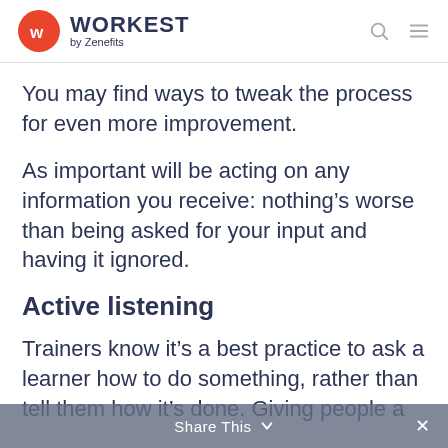WORKEST by Zenefits
You may find ways to tweak the process for even more improvement.
As important will be acting on any information you receive: nothing’s worse than being asked for your input and having it ignored.
Active listening
Trainers know it’s a best practice to ask a learner how to do something, rather than tell them how it’s done. Giving people a
Share This